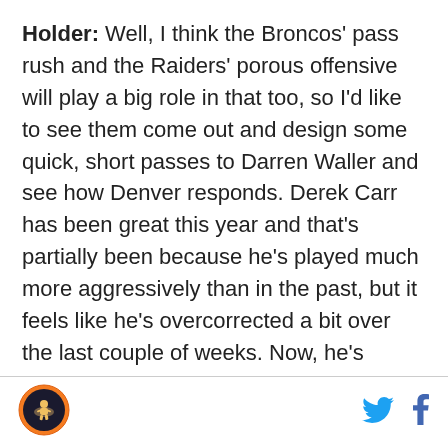Holder: Well, I think the Broncos' pass rush and the Raiders' porous offensive will play a big role in that too, so I'd like to see them come out and design some quick, short passes to Darren Waller and see how Denver responds. Derek Carr has been great this year and that's partially been because he's played much more aggressively than in the past, but it feels like he's overcorrected a bit over the last couple of weeks. Now, he's probably forcing it deep a bit too much and needs to get back to what he was doing in Weeks 1-3, which was finding a good balance between the check-downs and deep bombs.
Waller can make plays after the catch but he's been
[Figure (logo): Circular sports logo with orange border and dark center with an athlete figure]